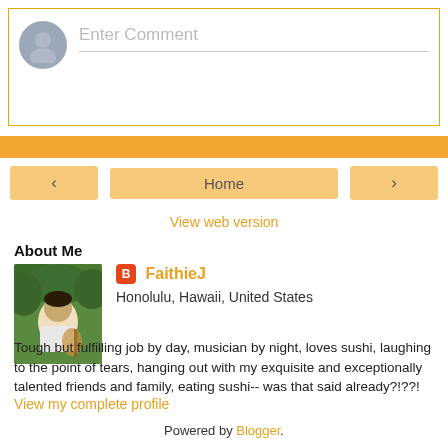[Figure (screenshot): Comment input box with avatar placeholder and 'Enter Comment' placeholder text, bordered in gold/orange]
[Figure (screenshot): Navigation row with left arrow, Home button, and right arrow on orange bar]
View web version
About Me
[Figure (photo): Profile photo of FaithieJ, a woman playing guitar outdoors]
FaithieJ
Honolulu, Hawaii, United States

Tough but fulfilling job by day, musician by night, loves sushi, laughing to the point of tears, hanging out with my exquisite and exceptionally talented friends and family, eating sushi-- was that said already?!??!
View my complete profile
Powered by Blogger.